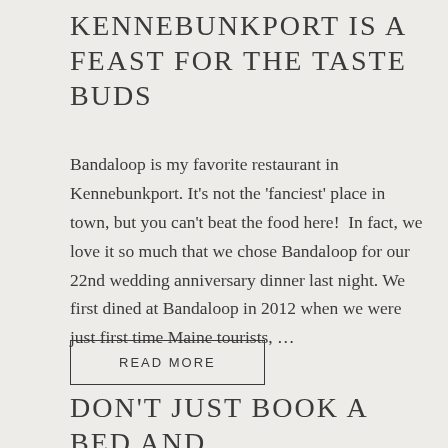KENNEBUNKPORT IS A FEAST FOR THE TASTE BUDS
Bandaloop is my favorite restaurant in Kennebunkport. It's not the 'fanciest' place in town, but you can't beat the food here!  In fact, we love it so much that we chose Bandaloop for our 22nd wedding anniversary dinner last night. We first dined at Bandaloop in 2012 when we were just first time Maine tourists, ...
READ MORE
DON'T JUST BOOK A BED AND BREAKFAST — "SELECT" ONE!